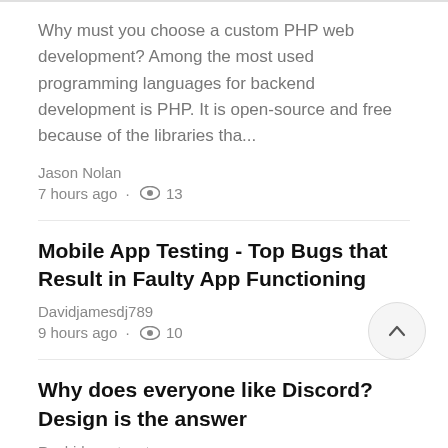Why must you choose a custom PHP web development? Among the most used programming languages for backend development is PHP. It is open-source and free because of the libraries tha...
Jason Nolan
7 hours ago · 👁 13
Mobile App Testing - Top Bugs that Result in Faulty App Functioning
Davidjamesdj789
9 hours ago · 👁 10
Why does everyone like Discord? Design is the answer
Rashidguestpost
10 hours ago · 👁 10
How to Find the Best Fintech Software Development